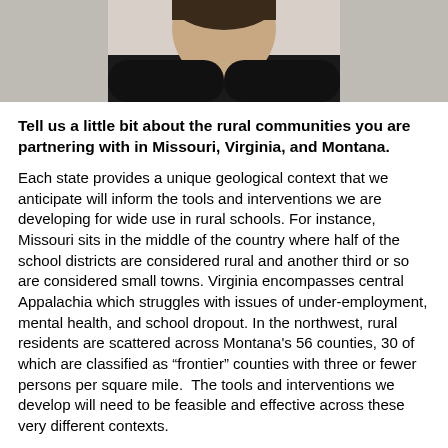[Figure (photo): Portrait photo of a woman wearing a black top, cropped to show head and shoulders against a light background]
Tell us a little bit about the rural communities you are partnering with in Missouri, Virginia, and Montana.
Each state provides a unique geological context that we anticipate will inform the tools and interventions we are developing for wide use in rural schools. For instance, Missouri sits in the middle of the country where half of the school districts are considered rural and another third or so are considered small towns. Virginia encompasses central Appalachia which struggles with issues of under-employment, mental health, and school dropout. In the northwest, rural residents are scattered across Montana’s 56 counties, 30 of which are classified as “frontier” counties with three or fewer persons per square mile.  The tools and interventions we develop will need to be feasible and effective across these very different contexts.
What are the most common mental health